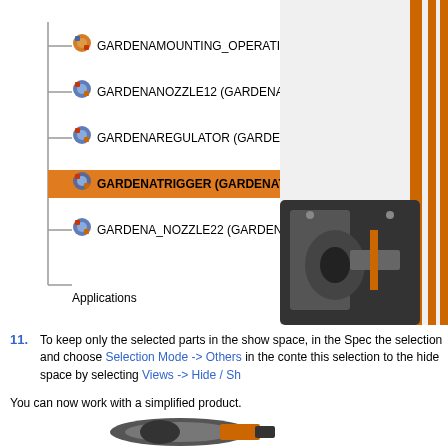[Figure (screenshot): Software tree view showing assembly components: GARDENAMOUNTING_OPERATIONS, GARDENANOZZLE12, GARDENAREGULATOR, GARDENATRIGGER (highlighted in orange), GARDENA_NOZZLE22, with Applications label below. Right side shows partial 3D model render.]
11. To keep only the selected parts in the show space, in the Spec... the selection and choose Selection Mode -> Others in the conte... this selection to the hide space by selecting Views -> Hide / Sh...
You can now work with a simplified product.
[Figure (engineering-diagram): 3D rendered model of a Gardena trigger nozzle assembly, showing cylindrical metal tube with orange and black trigger mechanism.]